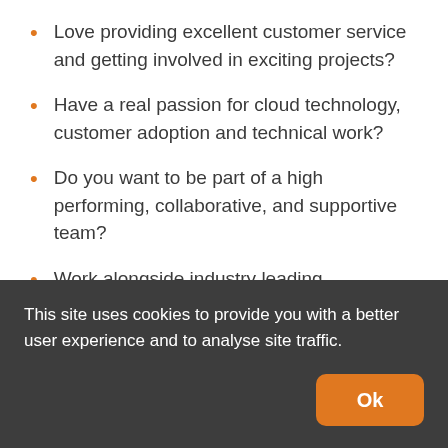Love providing excellent customer service and getting involved in exciting projects?
Have a real passion for cloud technology, customer adoption and technical work?
Do you want to be part of a high performing, collaborative, and supportive team?
Work alongside industry leading specialists?
Fusion5 is in an exciting time of growth and
This site uses cookies to provide you with a better user experience and to analyse site traffic.